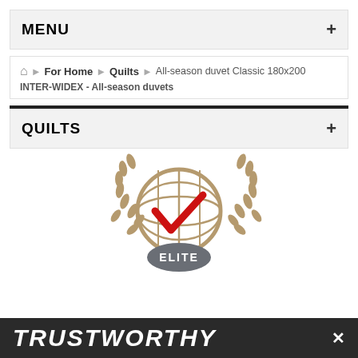MENU +
For Home > Quilts > All-season duvet Classic 180x200 | INTER-WIDEX - All-season duvets
QUILTS +
[Figure (logo): Elite trustworthy certification logo: a globe with a red checkmark, surrounded by laurel wreaths, with an oval badge reading ELITE at the bottom]
TRUSTWORTHY ×